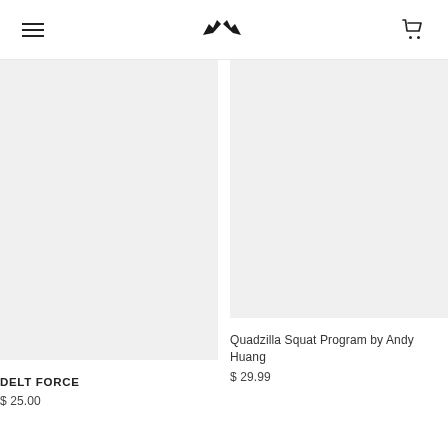Navigation header with hamburger menu, logo, and cart icon
[Figure (photo): Left product image placeholder – light grey rectangle for DELT FORCE product]
DELT FORCE
$ 25.00
[Figure (photo): Right product image placeholder – light grey rectangle for Quadzilla Squat Program product]
Quadzilla Squat Program by Andy Huang
$ 29.99